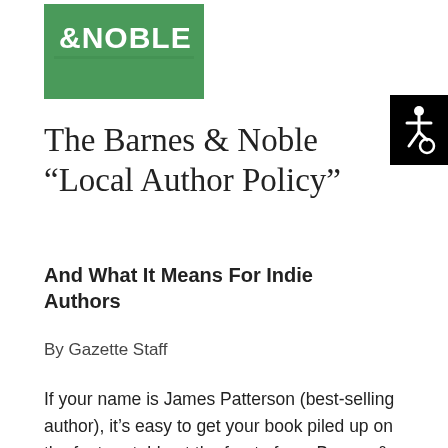[Figure (logo): Barnes & Noble green logo with white text reading '&NOBLE']
[Figure (illustration): Black accessibility icon (wheelchair symbol) on black background in top right corner]
The Barnes & Noble “Local Author Policy”
And What It Means For Indie Authors
By Gazette Staff
If your name is James Patterson (best-selling author), it’s easy to get your book piled up on the feature table at the front of any Barnes & Noble store in the country. But if you are Shirley Smith (unknown Indie self-